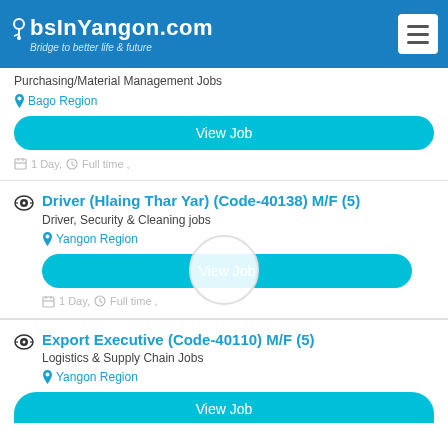JobsInYangon.com – Bridge to better life & future
Purchasing/Material Management Jobs
Bago Region
View Job
1 Day, Full time ,
Driver (Hlaing Thar Yar) (Code-40138) M/F (5)
Driver, Security & Cleaning jobs
Yangon Region
View Job
1 Day, Full time ,
Export Executive (Code-40110) M/F  (5)
Logistics & Supply Chain Jobs
Yangon Region
View Job